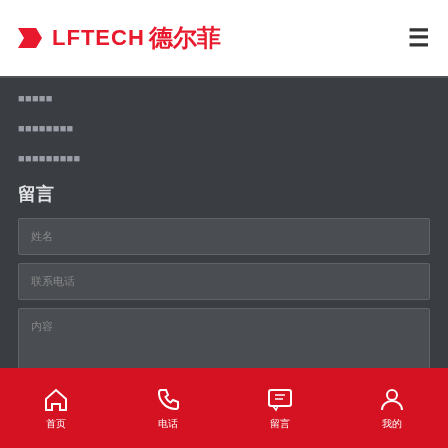DLFTECH 德尔菲
■■■■■
■■■■■■■■
■■■■■■■■■
留言
姓名 (form field placeholder)
联系电话 (form field placeholder)
内容 (form field placeholder)
首页  电话  留言  我的